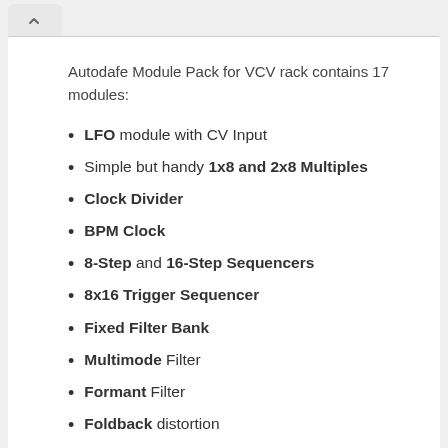Autodafe Module Pack for VCV rack contains 17 modules:
LFO module with CV Input
Simple but handy 1x8 and 2x8 Multiples
Clock Divider
BPM Clock
8-Step and 16-Step Sequencers
8x16 Trigger Sequencer
Fixed Filter Bank
Multimode Filter
Formant Filter
Foldback distortion
Bitcrusher
Phaser
Chorus